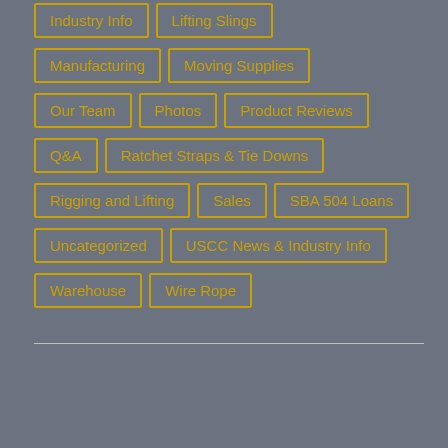Industry Info
Lifting Slings
Manufacturing
Moving Supplies
Our Team
Photos
Product Reviews
Q&A
Ratchet Straps & Tie Downs
Rigging and Lifting
Sales
SBA 504 Loans
Uncategorized
USCC News & Industry Info
Warehouse
Wire Rope